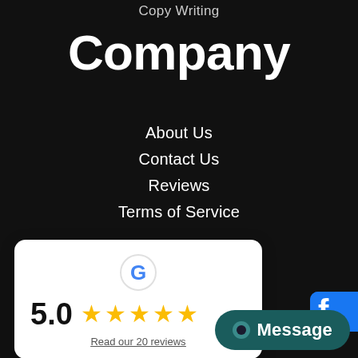Copy Writing
Company
About Us
Contact Us
Reviews
Terms of Service
Follow
[Figure (infographic): Google review card showing 5.0 rating with 5 gold stars and text 'Read our 20 reviews']
Facebook
Linkedin
Blog
[Figure (screenshot): Message button overlay with teal background]